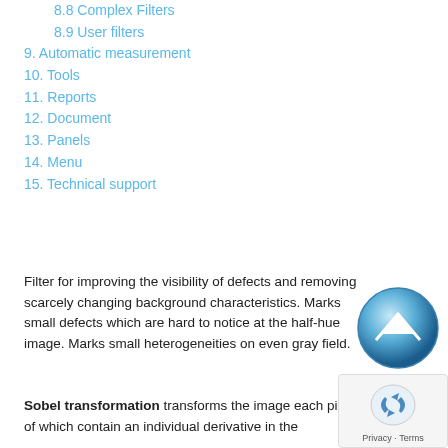8.8 Complex Filters
8.9 User filters
9. Automatic measurement
10. Tools
11. Reports
12. Document
13. Panels
14. Menu
15. Technical support
Filter for improving the visibility of defects and removing scarcely changing background characteristics. Marks small defects which are hard to notice at the half-hue image. Marks small heterogeneities on even gray field.
[Figure (illustration): Blue circular back/up arrow button icon]
Sobel transformation transforms the image each pixel of which contain an individual derivative in the
[Figure (logo): reCAPTCHA privacy widget with Privacy · Terms text]